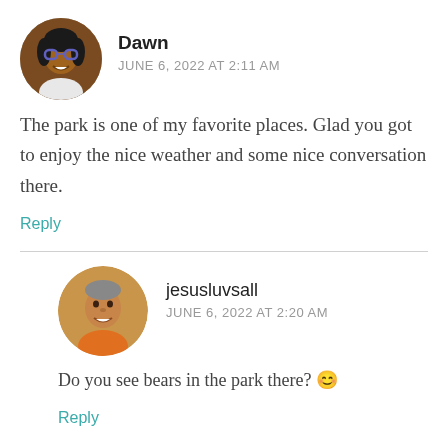[Figure (photo): Circular avatar photo of Dawn, a woman with glasses]
Dawn
JUNE 6, 2022 AT 2:11 AM
The park is one of my favorite places. Glad you got to enjoy the nice weather and some nice conversation there.
Reply
[Figure (photo): Circular avatar photo of jesusluvsall, a man in an orange shirt]
jesusluvsall
JUNE 6, 2022 AT 2:20 AM
Do you see bears in the park there? 😊
Reply